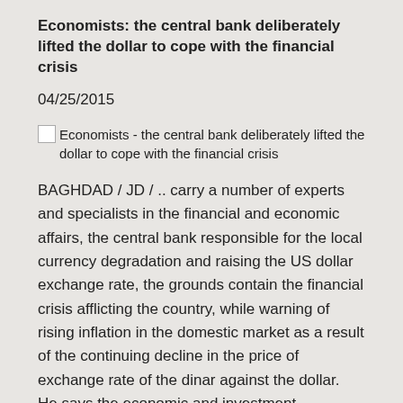Economists: the central bank deliberately lifted the dollar to cope with the financial crisis
04/25/2015
[Figure (photo): Broken image placeholder with alt text: Economists - the central bank deliberately lifted the dollar to cope with the financial crisis]
BAGHDAD / JD / .. carry a number of experts and specialists in the financial and economic affairs, the central bank responsible for the local currency degradation and raising the US dollar exchange rate, the grounds contain the financial crisis afflicting the country, while warning of rising inflation in the domestic market as a result of the continuing decline in the price of exchange rate of the dinar against the dollar.
He says the economic and investment commission